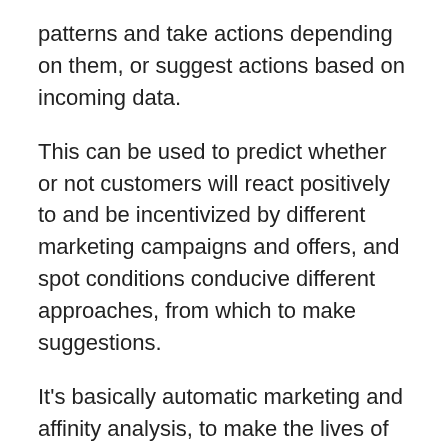patterns and take actions depending on them, or suggest actions based on incoming data.
This can be used to predict whether or not customers will react positively to and be incentivized by different marketing campaigns and offers, and spot conditions conducive different approaches, from which to make suggestions.
It's basically automatic marketing and affinity analysis, to make the lives of marketers much easier.
Coupling this with standard CRM competence to harness and carry the data, and you have a clever new system that can possibly do some impressive and very helpful things that didn't